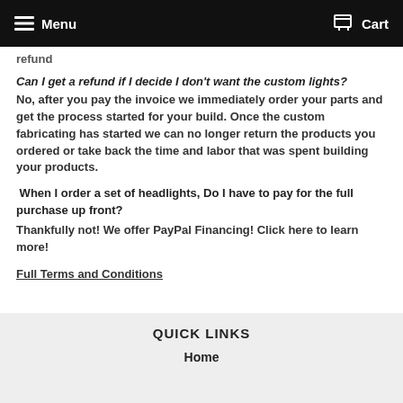Menu  Cart
refund
Can I get a refund if I decide I don't want the custom lights?
No, after you pay the invoice we immediately order your parts and get the process started for your build. Once the custom fabricating has started we can no longer return the products you ordered or take back the time and labor that was spent building your products.
When I order a set of headlights, Do I have to pay for the full purchase up front?
Thankfully not! We offer PayPal Financing! Click here to learn more!
Full Terms and Conditions
QUICK LINKS
Home